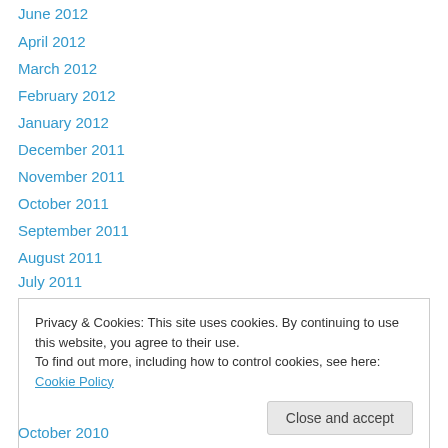June 2012
April 2012
March 2012
February 2012
January 2012
December 2011
November 2011
October 2011
September 2011
August 2011
July 2011
June 2011
May 2011
Privacy & Cookies: This site uses cookies. By continuing to use this website, you agree to their use. To find out more, including how to control cookies, see here: Cookie Policy
October 2010